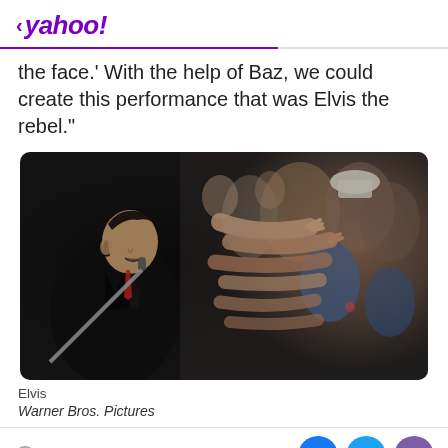< yahoo!
the face.' With the help of Baz, we could create this performance that was Elvis the rebel."
[Figure (photo): Scene from the Elvis movie showing a young Elvis performer singing into a microphone on stage with crowd of fans reaching out toward him with outstretched arms]
Elvis
Warner Bros. Pictures
View comments